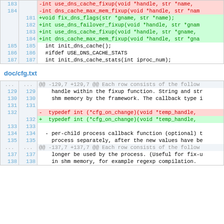[Figure (screenshot): Code diff block showing lines 183-187. Lines 183 and 184 are removed (red background) showing -int use_dns_cache_fixup and -int dns_cache_max_mem_fixup. Lines 181-184 are added (green background) showing +void fix_dns_flags, +int use_dns_failover_fixup, +int use_dns_cache_fixup, +int dns_cache_max_mem_fixup. Lines 185-187 are context lines.]
doc/cfg.txt
[Figure (screenshot): Code diff block for doc/cfg.txt showing hunk @@ -129,7 +129,7 @@ and lines 129-138. Line 132 removed (red) and added (green) showing typedef int (*cfg_on_change) changes. Context lines 129-131, 133-135, 137-138 shown.]